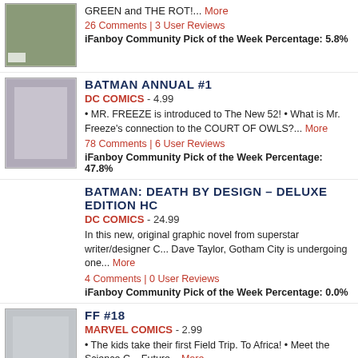GREEN and THE ROT!... More
26 Comments | 3 User Reviews
iFanboy Community Pick of the Week Percentage: 5.8%
BATMAN ANNUAL #1
DC COMICS - 4.99
• MR. FREEZE is introduced to The New 52! • What is Mr. Freeze's connection to the COURT OF OWLS?... More
78 Comments | 6 User Reviews
iFanboy Community Pick of the Week Percentage: 47.8%
BATMAN: DEATH BY DESIGN – DELUXE EDITION HC
DC COMICS - 24.99
In this new, original graphic novel from superstar writer/designer Chip Kidd and artist Dave Taylor, Gotham City is undergoing one... More
4 Comments | 0 User Reviews
iFanboy Community Pick of the Week Percentage: 0.0%
FF #18
MARVEL COMICS - 2.99
• The kids take their first Field Trip. To Africa! • Meet the Science Club of the Future... More
23 Comments | 2 User Reviews
iFanboy Community Pick of the Week Percentage: 4.1%